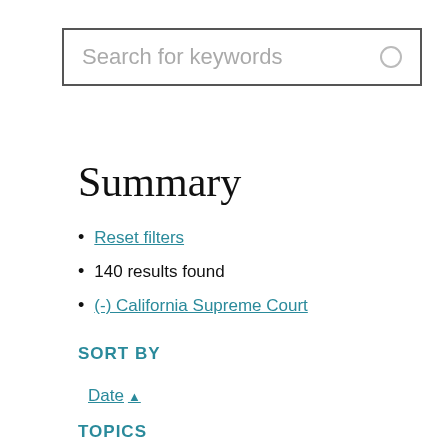[Figure (screenshot): Search input box with placeholder text 'Search for keywords' and a small circle icon on the right side]
Summary
Reset filters
140 results found
(-) California Supreme Court
SORT BY
Date ▲
TOPICS